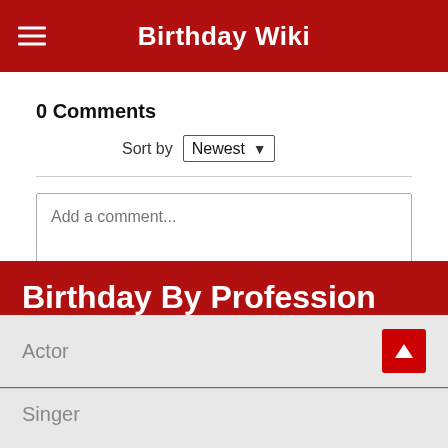Birthday Wiki
0 Comments
Sort by Newest
Add a comment...
Facebook Comments Plugin
Birthday By Profession
Actor
Singer